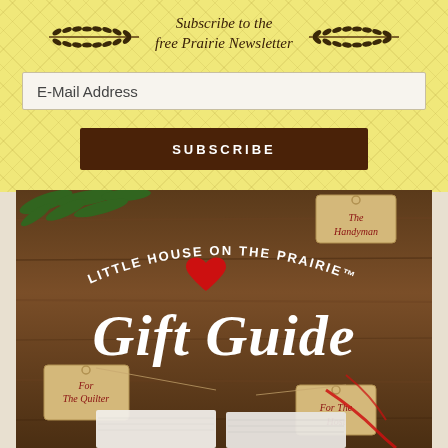Subscribe to the free Prairie Newsletter
E-Mail Address
SUBSCRIBE
[Figure (photo): Little House on the Prairie Gift Guide promotional image showing gift tags labeled 'For The Quilter', 'For The Host', and 'The Handyman' on a wooden surface with pine branches, a red heart, white fabric/linens, and a red ribbon.]